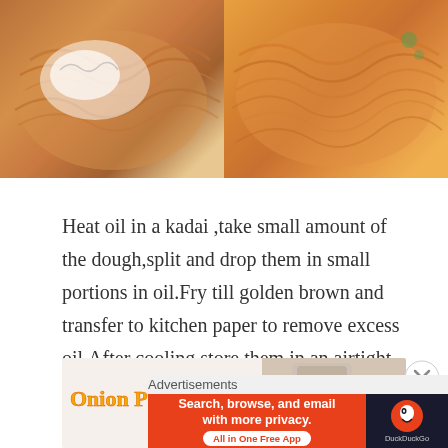[Figure (photo): Two side-by-side images of noodle/pasta dishes in bowls — left shows noodles with white sauce/cheese topping, right shows orange/golden fried noodles]
Heat oil in a kadai ,take small amount of the dough,split and drop them in small portions in oil.Fry till golden brown and transfer to kitchen paper to remove excess oil.After cooling store them in an airtight container.
[Figure (photo): Onion Pakoda recipe image with yellow/orange text label 'Onion Pakoda' on left side and a glass of beverage on the right]
Advertisements
[Figure (other): DuckDuckGo advertisement banner: 'Search, browse, and email with more privacy. All in One Free App' with DuckDuckGo logo]